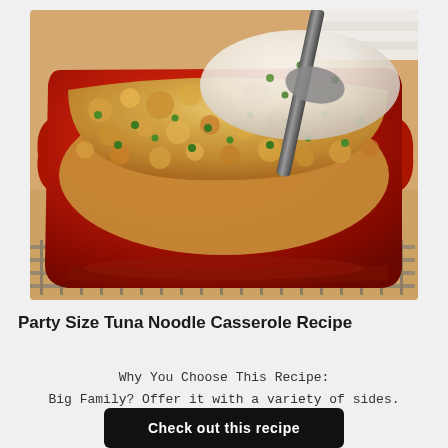[Figure (photo): A red casserole baking dish filled with tuna noodle casserole topped with breadcrumbs and green peas, with a serving spoon scooping out a portion. Dish sits on a wire cooling rack. White plates visible in upper right background.]
Party Size Tuna Noodle Casserole Recipe
Why You Choose This Recipe:
Big Family? Offer it with a variety of sides.
Check out this recipe